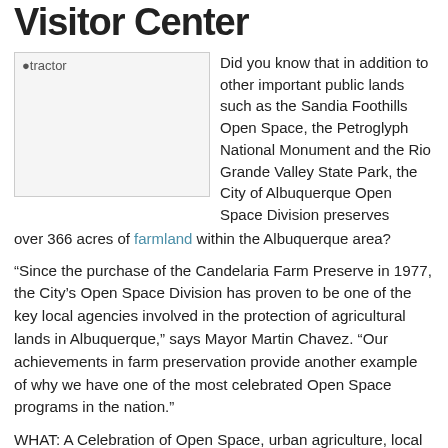Visitor Center
[Figure (photo): Image of a tractor (placeholder shown as alt text 'tractor')]
Did you know that in addition to other important public lands such as the Sandia Foothills Open Space, the Petroglyph National Monument and the Rio Grande Valley State Park, the City of Albuquerque Open Space Division preserves over 366 acres of farmland within the Albuquerque area?
“Since the purchase of the Candelaria Farm Preserve in 1977, the City’s Open Space Division has proven to be one of the key local agencies involved in the protection of agricultural lands in Albuquerque,” says Mayor Martin Chavez. “Our achievements in farm preservation provide another example of why we have one of the most celebrated Open Space programs in the nation.”
WHAT: A Celebration of Open Space, urban agriculture, local food, and community with music, fun, workshops, and more!